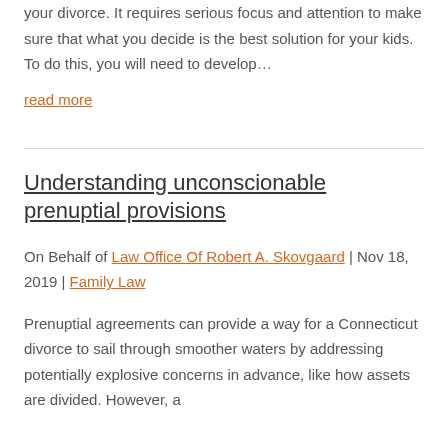your divorce. It requires serious focus and attention to make sure that what you decide is the best solution for your kids. To do this, you will need to develop…
read more
Understanding unconscionable prenuptial provisions
On Behalf of Law Office Of Robert A. Skovgaard | Nov 18, 2019 | Family Law
Prenuptial agreements can provide a way for a Connecticut divorce to sail through smoother waters by addressing potentially explosive concerns in advance, like how assets are divided. However, a